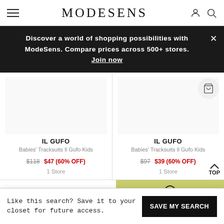MODESENS
Discover a world of shopping possibilities with ModeSens. Compare prices across 500+ stores. Join now
IL GUFO
Babies' Tracksuits Il Gufo Kids
$118 $47 (60% OFF)
1 Store
IL GUFO
Babies' Tracksuits Il Gufo Kids
$97 $39 (60% OFF)
1 Store
Like this search? Save it to your closet for future access.
SAVE MY SEARCH